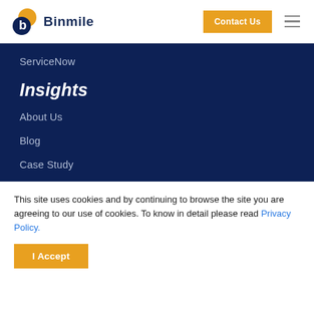Binmile | Contact Us
ServiceNow
Insights
About Us
Blog
Case Study
This site uses cookies and by continuing to browse the site you are agreeing to our use of cookies. To know in detail please read Privacy Policy.
I Accept